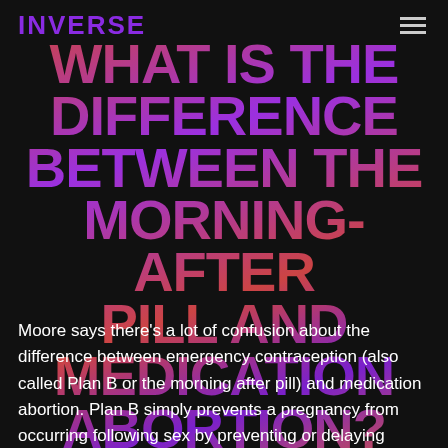INVERSE
WHAT IS THE DIFFERENCE BETWEEN THE MORNING-AFTER PILL AND MEDICATION ABORTION?
Moore says there's a lot of confusion about the difference between emergency contraception (also called Plan B or the morning after pill) and medication abortion. Plan B simply prevents a pregnancy from occurring following sex by preventing or delaying